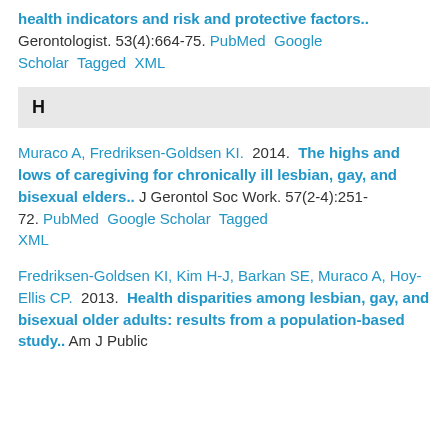health indicators and risk and protective factors.. Gerontologist. 53(4):664-75. PubMed Google Scholar Tagged XML
H
Muraco A, Fredriksen-Goldsen KI. 2014. The highs and lows of caregiving for chronically ill lesbian, gay, and bisexual elders.. J Gerontol Soc Work. 57(2-4):251-72. PubMed Google Scholar Tagged XML
Fredriksen-Goldsen KI, Kim H-J, Barkan SE, Muraco A, Hoy-Ellis CP. 2013. Health disparities among lesbian, gay, and bisexual older adults: results from a population-based study.. Am J Public